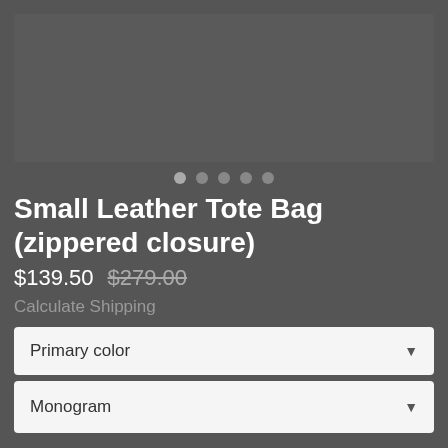[Figure (photo): Product image placeholder area (dark grey rectangle)]
[Figure (other): Image carousel navigation dots, 5 dots total, first dot slightly lighter than rest]
Small Leather Tote Bag (zippered closure)
$139.50 $279.00
Calculate Shipping
Primary color
Monogram